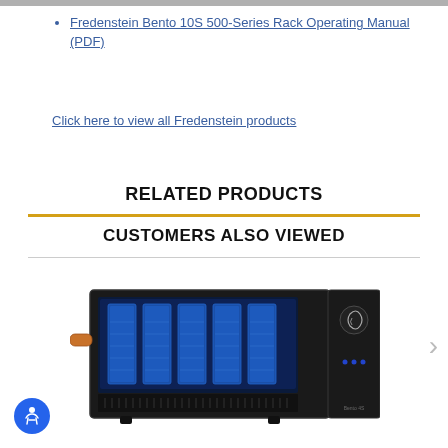Fredenstein Bento 10S 500-Series Rack Operating Manual (PDF)
Click here to view all Fredenstein products
RELATED PRODUCTS
CUSTOMERS ALSO VIEWED
[Figure (photo): Black rack-mounted audio equipment (Fredenstein Bento) with blue illuminated modules inside an open chassis, and a control panel on the right side with indicator lights.]